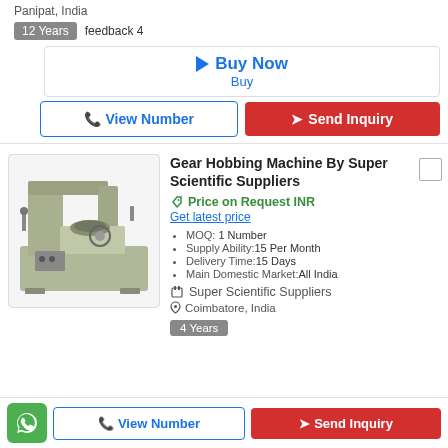Panipat, India
12 Years  feedback 4
Buy Now
Buy
View Number  Send Inquiry
Gear Hobbing Machine By Super Scientific Suppliers
Price on Request INR
Get latest price
MOQ: 1 Number
Supply Ability:15 Per Month
Delivery Time:15 Days
Main Domestic Market:All India
Super Scientific Suppliers
Coimbatore, India
4 Years
View Number  Send Inquiry